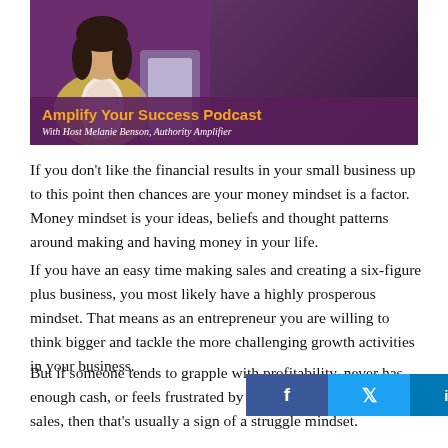[Figure (illustration): Amplify Your Success Podcast banner with host Melanie Benson, Authority Amplifier. Purple/maroon background with a woman in a yellow cardigan and text overlay.]
If you don't like the financial results in your small business up to this point then chances are your money mindset is a factor. Money mindset is your ideas, beliefs and thought patterns around making and having money in your life.
If you have an easy time making sales and creating a six-figure plus business, you most likely have a highly prosperous mindset. That means as an entrepreneur you are willing to think bigger and tackle the more challenging growth activities in your business.
But if someone tends to grapple with profitability, never has enough cash, or feels frustrated by the process of marketing or sales, then that's usually a sign of a struggle mindset.
[Figure (infographic): Social sharing bar with Facebook, Twitter, LinkedIn, and Pinterest buttons overlaid on the text.]